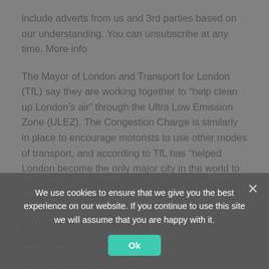include adverts from us and 3rd parties based on our understanding. You can unsubscribe at any time. More info
The Mayor of London and Transport for London (TfL) say they are working together to “help clean up London’s air” through the Ultra Low Emission Zone (ULEZ). The Congestion Charge is similarly in place to encourage motorists to use other modes of transport, and according to TfL has “helped London become the only major city in the world to see a shift from private car use to public transport, walking and cycling”.
However, for those who need to use their car to get across the
city, it can be yet another costly expense in the midst of a major cost of living crisis.
Both charges only apply to drivers who are passing through certain parts of the city.
We use cookies to ensure that we give you the best experience on our website. If you continue to use this site we will assume that you are happy with it.